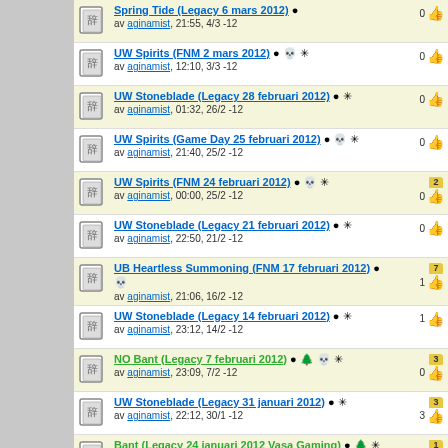Spring Tide (Legacy 6 mars 2012) av aginamist, 21:55, 4/3 -12 | 0
UW Spirits (FNM 2 mars 2012) av aginamist, 12:10, 3/3 -12 | 0
UW Stoneblade (Legacy 28 februari 2012) av aginamist, 01:32, 26/2 -12 | 0
UW Spirits (Game Day 25 februari 2012) av aginamist, 21:40, 25/2 -12 | 0
UW Spirits (FNM 24 februari 2012) av aginamist, 00:00, 25/2 -12 | 2 | 0
UW Stoneblade (Legacy 21 februari 2012) av aginamist, 22:50, 21/2 -12 | 0
UB Heartless Summoning (FNM 17 februari 2012) av aginamist, 21:06, 16/2 -12 | 7 | 1
UW Stoneblade (Legacy 14 februari 2012) av aginamist, 23:12, 14/2 -12 | 1
NO Bant (Legacy 7 februari 2012) av aginamist, 23:09, 7/2 -12 | 3 | 0
UW Stoneblade (Legacy 31 januari 2012) av aginamist, 22:12, 30/1 -12 | 3 | 3
Bant (Legacy 24 januari 2012 Vasa Gaming) av aginamist, 00:43, 22/1 -12 | 1 | 1